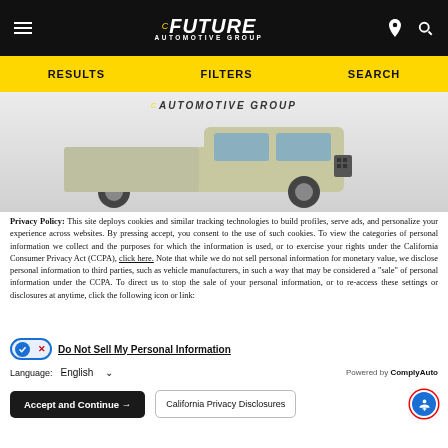[Figure (screenshot): Future Automotive Group website header with black background, hamburger menu icon on left, Future Automotive Group logo in center, location pin and search icons on right]
[Figure (screenshot): Yellow navigation bar with RESULTS, FILTERS, SEARCH options]
[Figure (photo): Future Automotive Group vehicle photo showing a light green/tan pickup truck against gray background with AUTOMOTIVE GROUP logo overlay]
Privacy Policy: This site deploys cookies and similar tracking technologies to build profiles, serve ads, and personalize your experience across websites. By pressing accept, you consent to the use of such cookies. To view the categories of personal information we collect and the purposes for which the information is used, or to exercise your rights under the California Consumer Privacy Act (CCPA), click here. Note that while we do not sell personal information for monetary value, we disclose personal information to third parties, such as vehicle manufacturers, in such a way that may be considered a "sale" of personal information under the CCPA. To direct us to stop the sale of your personal information, or to re-access these settings or disclosures at anytime, click the following icon or link:
Do Not Sell My Personal Information
Language:  English      Powered by ComplyAuto
Accept and Continue →    California Privacy Disclosures